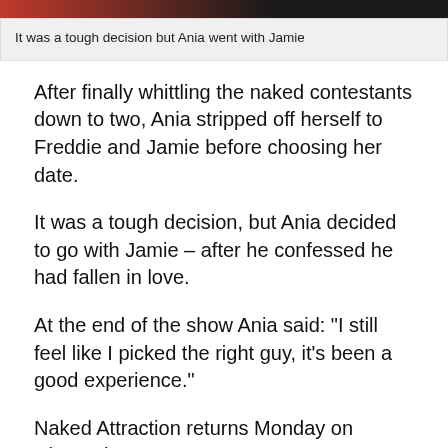[Figure (photo): Top strip of a photo showing people, partially cropped, with dark and red tones]
It was a tough decision but Ania went with Jamie
After finally whittling the naked contestants down to two, Ania stripped off herself to Freddie and Jamie before choosing her date.
It was a tough decision, but Ania decided to go with Jamie – after he confessed he had fallen in love.
At the end of the show Ania said: “I still feel like I picked the right guy, it’s been a good experience.”
Naked Attraction returns Monday on Channel 4 at 10pm.
You May Like
Sponsored Links by Taboola
[Figure (photo): Bottom partial photo showing a hand holding a champagne glass with teal and purple background]